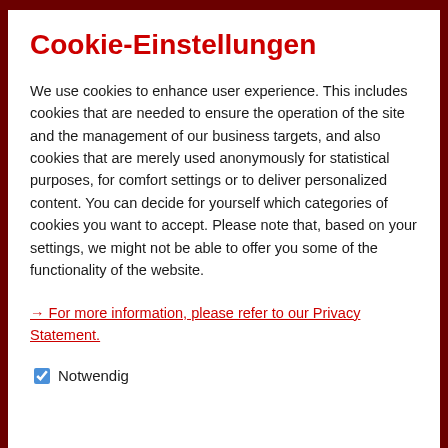Cookie-Einstellungen
We use cookies to enhance user experience. This includes cookies that are needed to ensure the operation of the site and the management of our business targets, and also cookies that are merely used anonymously for statistical purposes, for comfort settings or to deliver personalized content. You can decide for yourself which categories of cookies you want to accept. Please note that, based on your settings, we might not be able to offer you some of the functionality of the website.
→ For more information, please refer to our Privacy Statement.
Notwendig